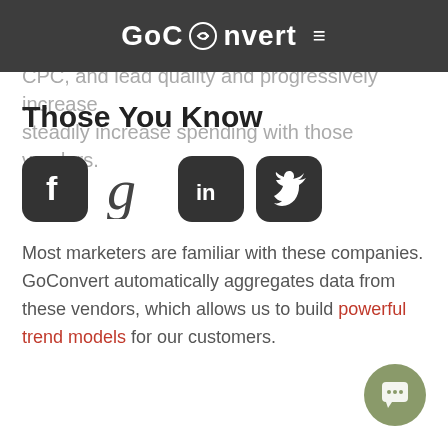GoConvert ≡
channel or channels that deliver the best CTR, CPC, and lead quality and progressively increase steadily increase spending with those vendors.
Those You Know
[Figure (logo): Social media icons: Facebook, Google+, LinkedIn, Twitter]
Most marketers are familiar with these companies. GoConvert automatically aggregates data from these vendors, which allows us to build powerful trend models for our customers.